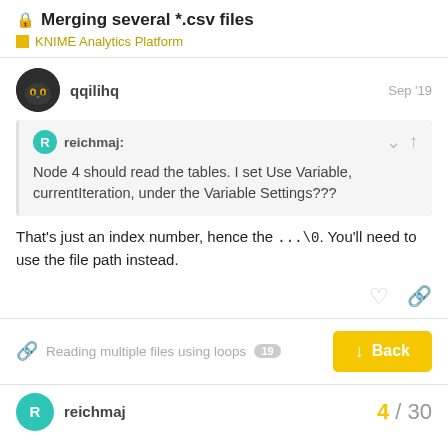🔒 Merging several *.csv files
KNIME Analytics Platform
qqilihq Sep '19
reichmaj: Node 4 should read the tables. I set Use Variable, currentIteration, under the Variable Settings???
That's just an index number, hence the ...\0. You'll need to use the file path instead.
Reading multiple files using loops 19   Back
reichmaj 4 / 30